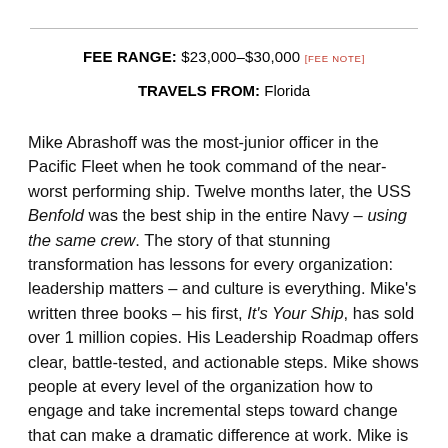FEE RANGE: $23,000–$30,000 [FEE NOTE]
TRAVELS FROM: Florida
Mike Abrashoff was the most-junior officer in the Pacific Fleet when he took command of the near-worst performing ship. Twelve months later, the USS Benfold was the best ship in the entire Navy – using the same crew. The story of that stunning transformation has lessons for every organization: leadership matters – and culture is everything. Mike's written three books – his first, It's Your Ship, has sold over 1 million copies. His Leadership Roadmap offers clear, battle-tested, and actionable steps. Mike shows people at every level of the organization how to engage and take incremental steps toward change that can make a dramatic difference at work. Mike is clear, "I didn't turn the ship around – my crew did that. What I did was to create an environment